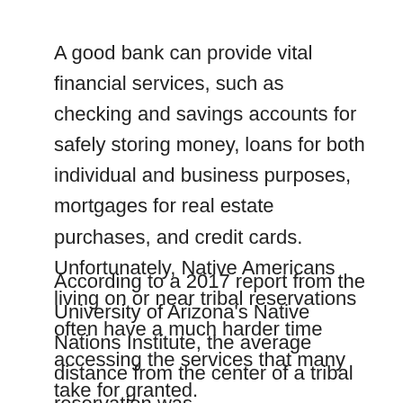A good bank can provide vital financial services, such as checking and savings accounts for safely storing money, loans for both individual and business purposes, mortgages for real estate purchases, and credit cards. Unfortunately, Native Americans living on or near tribal reservations often have a much harder time accessing the services that many take for granted.
According to a 2017 report from the University of Arizona's Native Nations Institute, the average distance from the center of a tribal reservation was